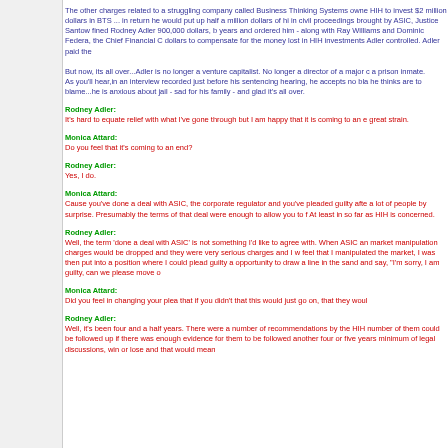The other charges related to a struggling company called Business Thinking Systems owned HIH to invest $2 million dollars in BTS ... in return he would put up half a million dollars of hi in civil proceedings brought by ASIC, Justice Santow fined Rodney Adler 900,000 dollars, b years and ordered him - along with Ray Williams and Dominic Federa, the Chief Financial O dollars to compensate for the money lost in HIH investments Adler controlled. Adler paid the
But now, its all over...Adler is no longer a venture capitalist. No longer a director of a major c a prison inmate.
As you'll hear,in an interview recorded just before his sentencing hearing, he accepts no bla he thinks are to blame...he is anxious about jail - sad for his family - and glad it's all over.
Rodney Adler:
It's hard to equate relief with what I've gone through but I am happy that it is coming to an e great strain.
Monica Attard:
Do you feel that it's coming to an end?
Rodney Adler:
Yes, I do.
Monica Attard:
Cause you've done a deal with ASIC, the corporate regulator and you've pleaded guilty afte a lot of people by surprise. Presumably the terms of that deal were enough to allow you to f At least in so far as HIH is concerned.
Rodney Adler:
Well, the term 'done a deal with ASIC' is not something I'd like to agree with. When ASIC an market manipulation charges would be dropped and they were very serious charges and I w feel that I manipulated the market, I was then put into a position where I could plead guilty a opportunity to draw a line in the sand and say, "I'm sorry, I am guilty, can we please move o
Monica Attard:
Did you feel in changing your plea that if you didn't that this would just go on, that they woul
Rodney Adler:
Well, it's been four and a half years. There were a number of recommendations by the HIH number of them could be followed up if there was enough evidence for them to be followed another four or five years minimum of legal discussions, win or lose and that would mean